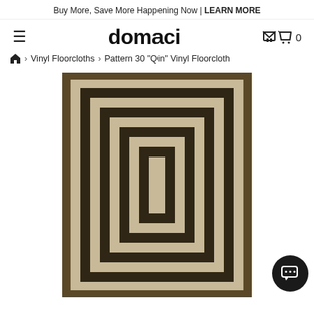Buy More, Save More Happening Now | LEARN MORE
domaci
≡   🛒 0
🏠 › Vinyl Floorcloths › Pattern 30 "Qin" Vinyl Floorcloth
[Figure (photo): Product photo of Pattern 30 Qin Vinyl Floorcloth showing concentric rectangular stripe pattern in dark brown/black and cream/beige colors on a rug-like floor cloth.]